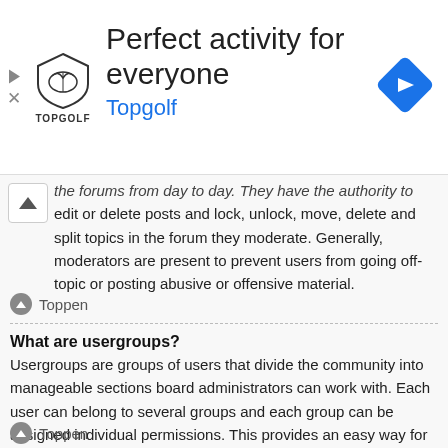[Figure (advertisement): Topgolf advertisement banner with shield logo, title 'Perfect activity for everyone', subtitle 'Topgolf', navigation diamond icon on the right, and play/close controls on the left.]
the forums from day to day. They have the authority to edit or delete posts and lock, unlock, move, delete and split topics in the forum they moderate. Generally, moderators are present to prevent users from going off-topic or posting abusive or offensive material.
Toppen
What are usergroups?
Usergroups are groups of users that divide the community into manageable sections board administrators can work with. Each user can belong to several groups and each group can be assigned individual permissions. This provides an easy way for administrators to change permissions for many users at once, such as changing moderator permissions or granting users access to a private forum.
Toppen